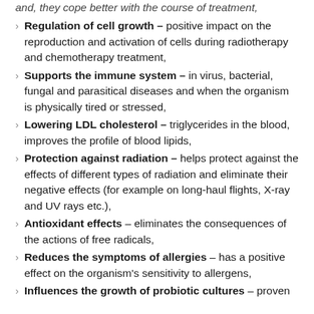and, they cope better with the course of treatment,
Regulation of cell growth – positive impact on the reproduction and activation of cells during radiotherapy and chemotherapy treatment,
Supports the immune system – in virus, bacterial, fungal and parasitical diseases and when the organism is physically tired or stressed,
Lowering LDL cholesterol – triglycerides in the blood, improves the profile of blood lipids,
Protection against radiation – helps protect against the effects of different types of radiation and eliminate their negative effects (for example on long-haul flights, X-ray and UV rays etc.),
Antioxidant effects – eliminates the consequences of the actions of free radicals,
Reduces the symptoms of allergies – has a positive effect on the organism's sensitivity to allergens,
Influences the growth of probiotic cultures – proven